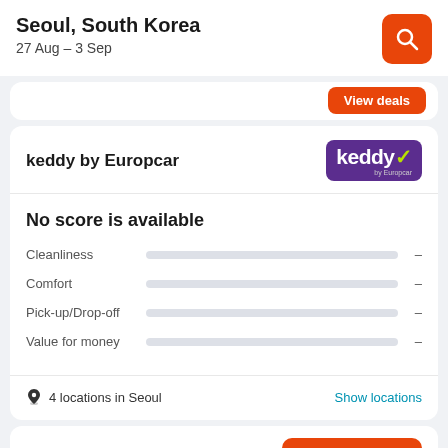Seoul, South Korea
27 Aug – 3 Sep
keddy by Europcar
No score is available
Cleanliness –
Comfort –
Pick-up/Drop-off –
Value for money –
4 locations in Seoul
Show locations
View deals